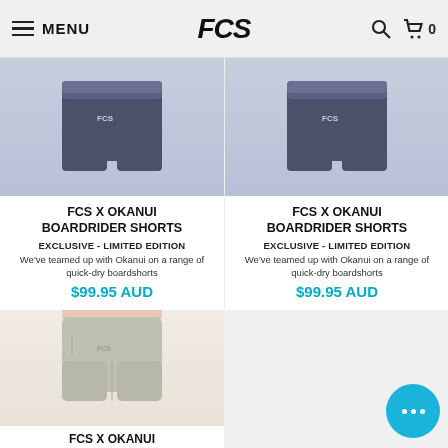MENU | FCS | 0
[Figure (photo): FCS X Okanui Boardrider Shorts product image - dark navy blue shorts]
FCS X OKANUI BOARDRIDER SHORTS
EXCLUSIVE - LIMITED EDITION
We've teamed up with Okanui on a range of quick-dry boardshorts
$99.95 AUD
[Figure (photo): FCS X Okanui Boardrider Shorts product image - dark navy blue shorts second variant]
FCS X OKANUI BOARDRIDER SHORTS
EXCLUSIVE - LIMITED EDITION
We've teamed up with Okanui on a range of quick-dry boardshorts
$99.95 AUD
[Figure (photo): FCS X Okanui Boardrider Shorts product image - light grey/sand shorts]
FCS X OKANUI